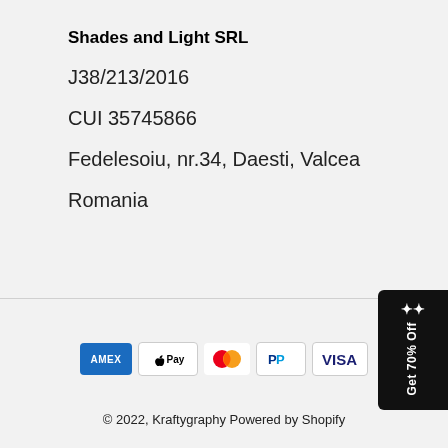Shades and Light SRL
J38/213/2016
CUI 35745866
Fedelesoiu, nr.34, Daesti, Valcea
Romania
[Figure (other): Payment method icons: American Express, Apple Pay, Mastercard, PayPal, Visa]
© 2022, Kraftygraphy Powered by Shopify